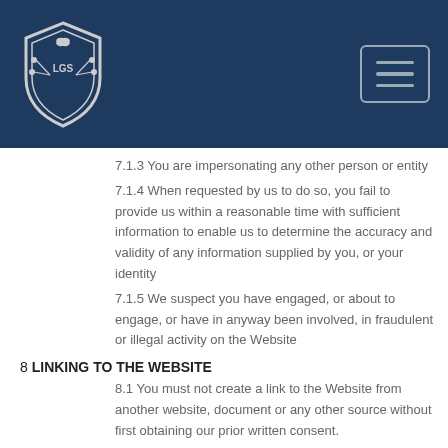[Figure (logo): Shield logo with LGS letters and foliage decoration]
7.1.3 You are impersonating any other person or entity
7.1.4 When requested by us to do so, you fail to provide us within a reasonable time with sufficient information to enable us to determine the accuracy and validity of any information supplied by you, or your identity
7.1.5 We suspect you have engaged, or about to engage, or have in anyway been involved, in fraudulent or illegal activity on the Website
8 LINKING TO THE WEBSITE
8.1 You must not create a link to the Website from another website, document or any other source without first obtaining our prior written consent.
8.2 Any permitted link must...